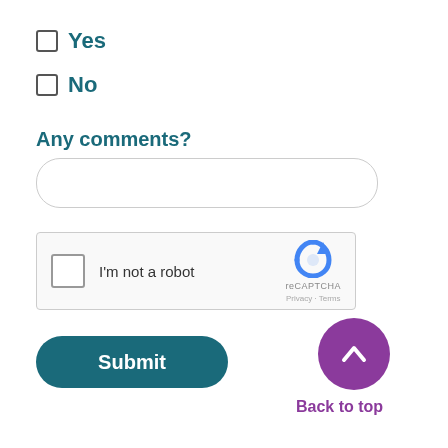Yes
No
Any comments?
[Figure (other): Text input field (rounded rectangle, empty)]
[Figure (other): reCAPTCHA widget with checkbox labeled I'm not a robot]
[Figure (other): Submit button (teal rounded rectangle)]
[Figure (other): Back to top button (purple circle with up chevron)]
Back to top